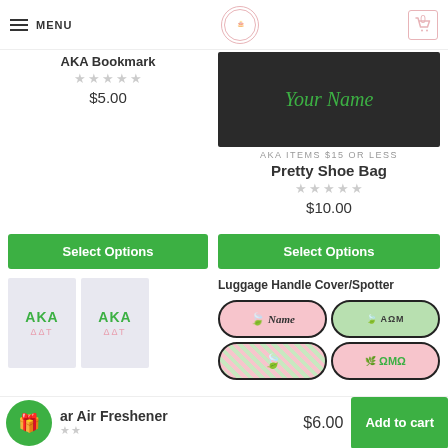MENU | [Logo] | [Cart: 0]
AKA Bookmark
★★★★★
$5.00
[Figure (photo): Black headband/shoe bag with 'Your Name' written in green cursive script]
AKA ITEMS $15 OR LESS
Pretty Shoe Bag
★★★★★
$10.00
Select Options
Select Options
[Figure (photo): Two light purple/lavender bags with AKA in green letters and pink letters below]
Luggage Handle Cover/Spotter
[Figure (photo): Four luggage handle cover/spotter tags in pink and green with AKA symbols, name, and Greek letters]
[Gift icon] Car Air Freshener ★★ $6.00 Add to cart